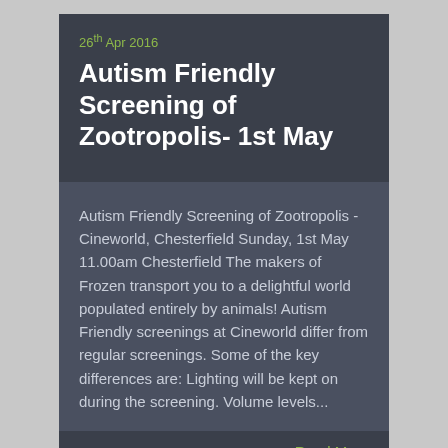26th Apr 2016
Autism Friendly Screening of Zootropolis- 1st May
Autism Friendly Screening of Zootropolis - Cineworld, Chesterfield Sunday, 1st May 11.00am Chesterfield The makers of Frozen transport you to a delightful world populated entirely by animals! Autism Friendly screenings at Cineworld differ from regular screenings. Some of the key differences are: Lighting will be kept on during the screening. Volume levels...
Read More